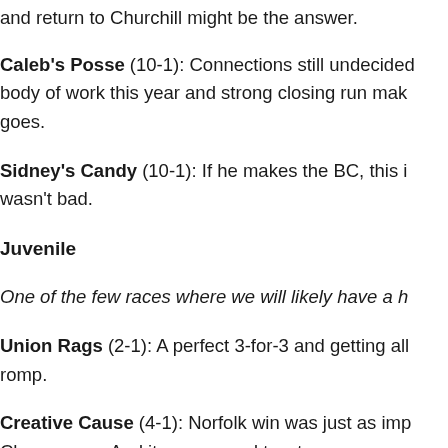and return to Churchill might be the answer.
Caleb's Posse (10-1): Connections still undecided body of work this year and strong closing run mak goes.
Sidney's Candy (10-1): If he makes the BC, this i wasn't bad.
Juvenile
One of the few races where we will likely have a h
Union Rags (2-1): A perfect 3-for-3 and getting all romp.
Creative Cause (4-1): Norfolk win was just as imp Champagne. And it was around two turns.